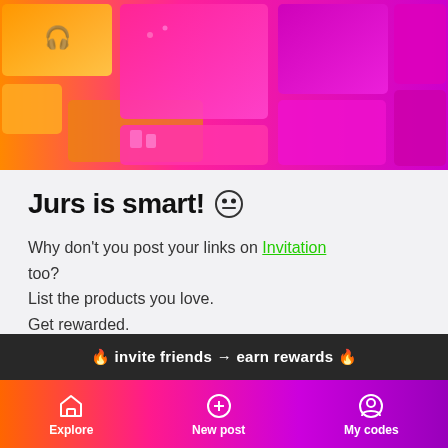[Figure (photo): App screenshot showing a collage of product/lifestyle photos with orange-to-pink-to-magenta gradient tint overlay arranged in a mosaic grid]
Jurs is smart! 😐
Why don't you post your links on Invitation too?
List the products you love.
Get rewarded.
It's quick & free.
🔥 invite friends → earn rewards 🔥
Explore  New post  My codes